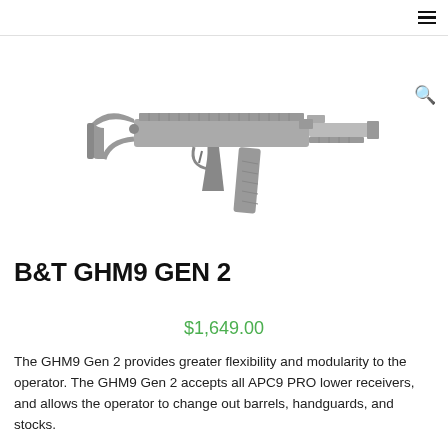☰ (hamburger menu icon)
[Figure (photo): B&T GHM9 GEN 2 pistol/submachine gun in black, shown in profile with folding stock extended, top rail, angled magazine, and foregrip. A magnifying glass search icon appears at the top right of the image.]
B&T GHM9 GEN 2
$1,649.00
The GHM9 Gen 2 provides greater flexibility and modularity to the operator. The GHM9 Gen 2 accepts all APC9 PRO lower receivers, and allows the operator to change out barrels, handguards, and stocks.